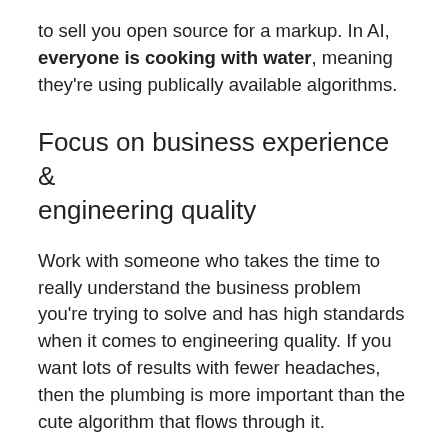to sell you open source for a markup. In AI, everyone is cooking with water, meaning they're using publically available algorithms.
Focus on business experience & engineering quality
Work with someone who takes the time to really understand the business problem you're trying to solve and has high standards when it comes to engineering quality. If you want lots of results with fewer headaches, then the plumbing is more important than the cute algorithm that flows through it.
Magic Triangle meetings
The best ideas develop when you put three